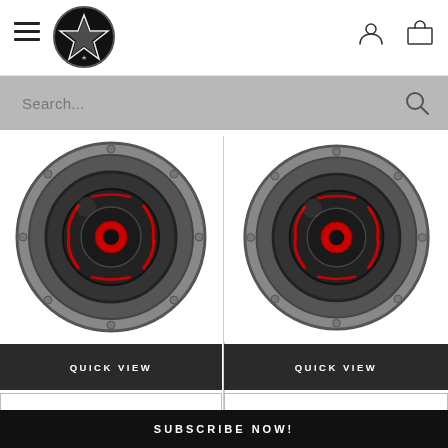[Figure (screenshot): Navigation header with hamburger menu icon, circular logo with star, user icon, and shopping cart icon]
[Figure (screenshot): Search bar with placeholder text 'Search...' and a magnifying glass icon on grey background]
[Figure (photo): Car audio subwoofer speaker - left product]
[Figure (photo): Car audio subwoofer speaker - right product]
QUICK VIEW
QUICK VIEW
ADD TO CART
ADD TO CART
SUBSCRIBE NOW!